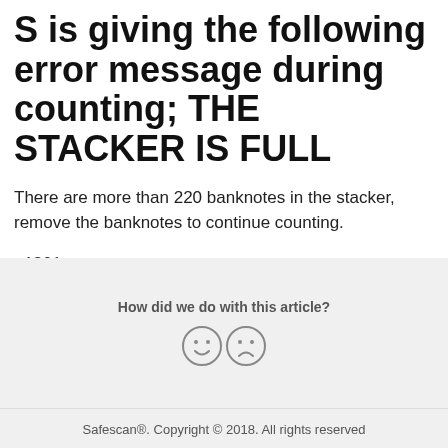S is giving the following error message during counting; THE STACKER IS FULL
There are more than 220 banknotes in the stacker, remove the banknotes to continue counting.
v1801
How did we do with this article?
[Figure (illustration): Two emoji faces: a smiley face and a sad face]
Safescan®. Copyright © 2018. All rights reserved